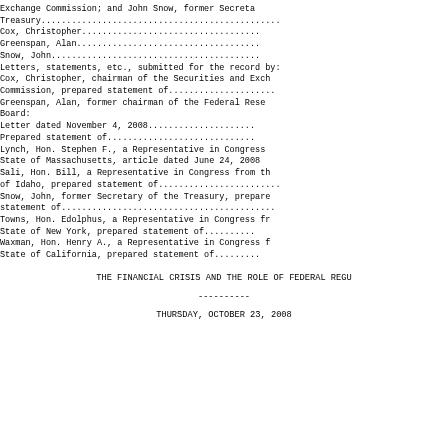Exchange Commission; and John Snow, former Secretary of the Treasury.............................................
Cox, Christopher...........................................
Greenspan, Alan............................................
Snow, John.................................................
Letters, statements, etc., submitted for the record by:
Cox, Christopher, chairman of the Securities and Exchange Commission, prepared statement of...................
Greenspan, Alan, former chairman of the Federal Reserve Board:
Letter dated November 4, 2008..........................
Prepared statement of..................................
Lynch, Hon. Stephen F., a Representative in Congress from the State of Massachusetts, article dated June 24, 2008...
Sali, Hon. Bill, a Representative in Congress from the State of Idaho, prepared statement of.....................
Snow, John, former Secretary of the Treasury, prepared statement of................................................
Towns, Hon. Edolphus, a Representative in Congress from the State of New York, prepared statement of.............
Waxman, Hon. Henry A., a Representative in Congress from the State of California, prepared statement of.........
THE FINANCIAL CRISIS AND THE ROLE OF FEDERAL REGULATION
----------
THURSDAY, OCTOBER 23, 2008